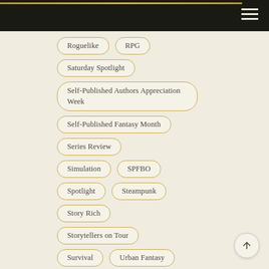Navigation bar
Roguelike
RPG
Saturday Spotlight
Self-Published Authors Appreciation Week
Self-Published Fantasy Month
Series Review
Simulation
SPFBO
Spotlight
Steampunk
Story Rich
Storytellers on Tour
Survival
Urban Fantasy
Video Game